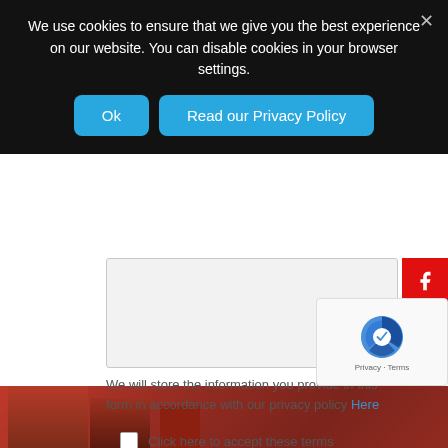We use cookies to ensure that we give you the best experience on our website. You can disable cookies in your browser settings.
Ok
Read our Privacy Policy
We will store the information you provide in this form in accordance with our privacy policy Here
Click here to accept these terms
Send